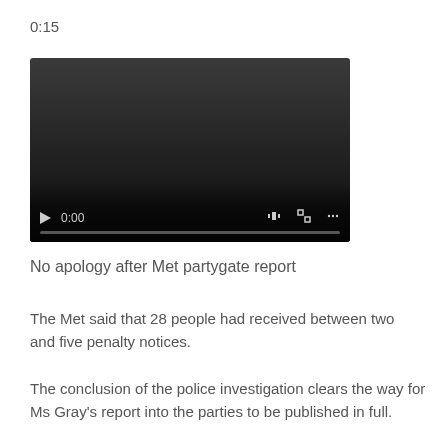0:15
[Figure (screenshot): Embedded video player showing a dark/black video frame with playback controls at the bottom: play button, time display '0:00', volume icon, fullscreen icon, and more options icon, with a progress bar beneath.]
No apology after Met partygate report
The Met said that 28 people had received between two and five penalty notices.
The conclusion of the police investigation clears the way for Ms Gray's report into the parties to be published in full.